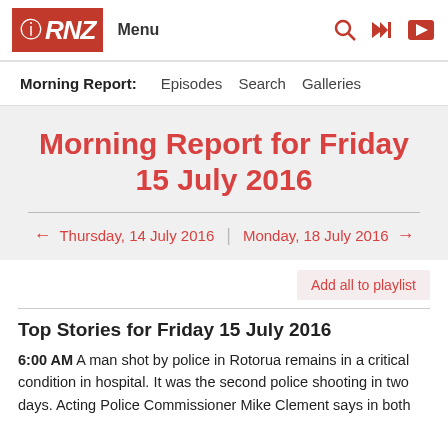RNZ Menu
Morning Report: Episodes Search Galleries
Morning Report for Friday 15 July 2016
← Thursday, 14 July 2016 | Monday, 18 July 2016 →
Add all to playlist
Top Stories for Friday 15 July 2016
6:00 AM A man shot by police in Rotorua remains in a critical condition in hospital. It was the second police shooting in two days. Acting Police Commissioner Mike Clement says in both